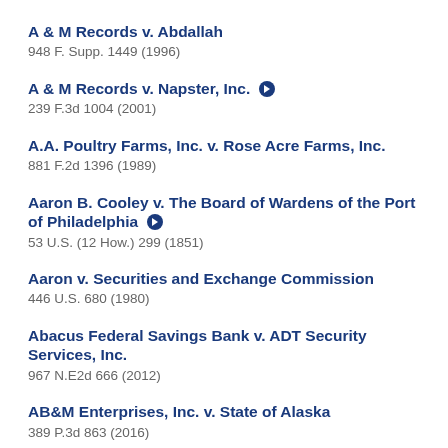A & M Records v. Abdallah
948 F. Supp. 1449 (1996)
A & M Records v. Napster, Inc. [play icon]
239 F.3d 1004 (2001)
A.A. Poultry Farms, Inc. v. Rose Acre Farms, Inc.
881 F.2d 1396 (1989)
Aaron B. Cooley v. The Board of Wardens of the Port of Philadelphia [play icon]
53 U.S. (12 How.) 299 (1851)
Aaron v. Securities and Exchange Commission
446 U.S. 680 (1980)
Abacus Federal Savings Bank v. ADT Security Services, Inc.
967 N.E2d 666 (2012)
AB&M Enterprises, Inc. v. State of Alaska
389 P.3d 863 (2016)
A.B. & C. Auto Service, Inc. v. South Shore Bank of Chicago